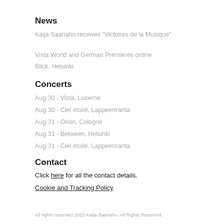News
Kaija Saariaho receives “Victoires de la Musique”
Vista World and German Premieres online
Blick, Helsinki
Concerts
Aug 30 - Vista, Lucerne
Aug 30 - Ciel étoilé, Lappeenranta
Aug 31 - Orion, Cologne
Aug 31 - Between, Helsinki
Aug 31 - Ciel étoilé, Lappeenranta
Contact
Click here for all the contact details.
Cookie and Tracking Policy
All rights reserved 2015 Kaija Saariaho. All Rights Reserved.